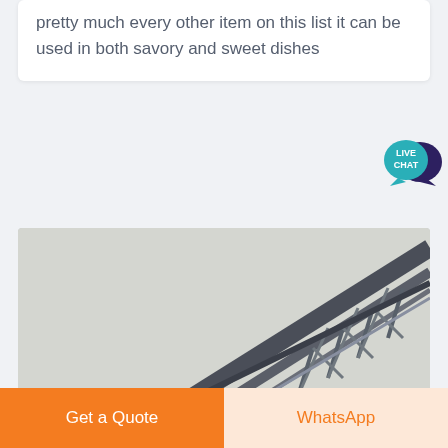pretty much every other item on this list it can be used in both savory and sweet dishes
[Figure (illustration): Live chat widget with teal speech bubble labeled LIVE CHAT and a dark purple speech bubble overlapping behind it]
[Figure (photo): A steel truss bridge or scaffolding structure photographed from below against a light grey overcast sky, with metal beams and lattice framework visible diagonally across the frame]
Get a Quote
WhatsApp